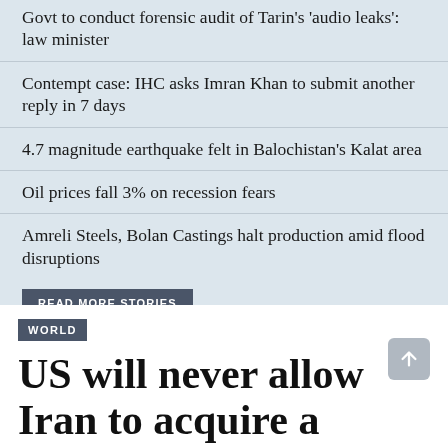Govt to conduct forensic audit of Tarin's 'audio leaks': law minister
Contempt case: IHC asks Imran Khan to submit another reply in 7 days
4.7 magnitude earthquake felt in Balochistan's Kalat area
Oil prices fall 3% on recession fears
Amreli Steels, Bolan Castings halt production amid flood disruptions
READ MORE STORIES
WORLD
US will never allow Iran to acquire a nuclear weapon, Biden